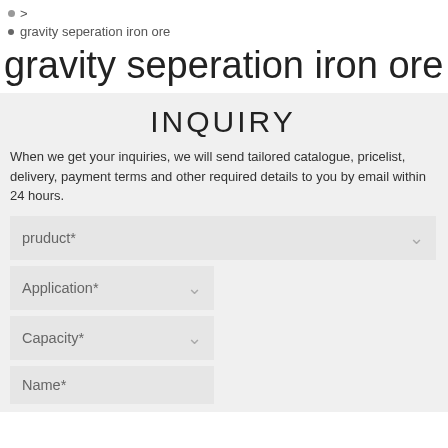• > gravity seperation iron ore
• gravity seperation iron ore
gravity seperation iron ore
INQUIRY
When we get your inquiries, we will send tailored catalogue, pricelist, delivery, payment terms and other required details to you by email within 24 hours.
pruduct*
Application*
Capacity*
Name*